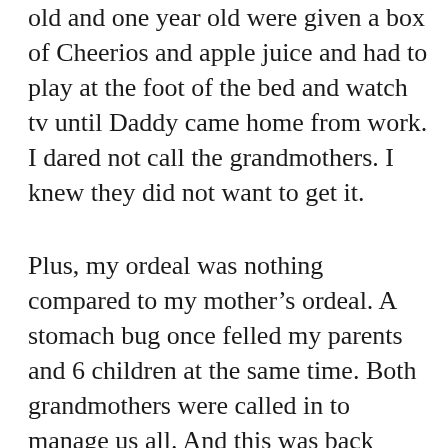old and one year old were given a box of Cheerios and apple juice and had to play at the foot of the bed and watch tv until Daddy came home from work. I dared not call the grandmothers. I knew they did not want to get it.
Plus, my ordeal was nothing compared to my mother's ordeal. A stomach bug once felled my parents and 6 children at the same time. Both grandmothers were called in to manage us all. And this was back when sickies were supposed to actually stay in their beds tucked under their covers. And doctors made house calls. The doc came and, after checking on all us kids,